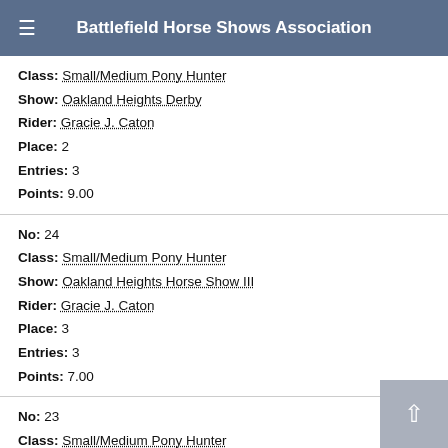Battlefield Horse Shows Association
Class: Small/Medium Pony Hunter
Show: Oakland Heights Derby
Rider: Gracie J. Caton
Place: 2
Entries: 3
Points: 9.00
No: 24
Class: Small/Medium Pony Hunter
Show: Oakland Heights Horse Show III
Rider: Gracie J. Caton
Place: 3
Entries: 3
Points: 7.00
No: 23
Class: Small/Medium Pony Hunter
Show: Oakland Heights Horse Show III
Rider: Gracie J. Caton
Place: 2
Entries: 3